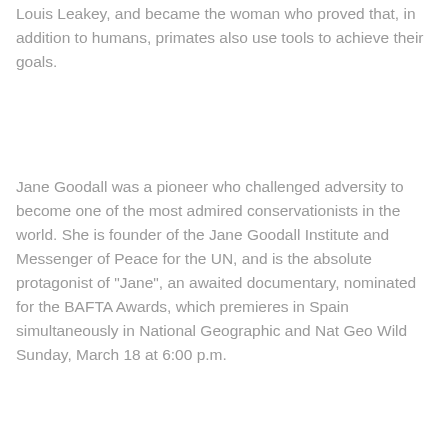mentor with his observations, the famous paleontologist Louis Leakey, and became the woman who proved that, in addition to humans, primates also use tools to achieve their goals.
Jane Goodall was a pioneer who challenged adversity to become one of the most admired conservationists in the world. She is founder of the Jane Goodall Institute and Messenger of Peace for the UN, and is the absolute protagonist of "Jane", an awaited documentary, nominated for the BAFTA Awards, which premieres in Spain simultaneously in National Geographic and Nat Geo Wild Sunday, March 18 at 6:00 p.m.